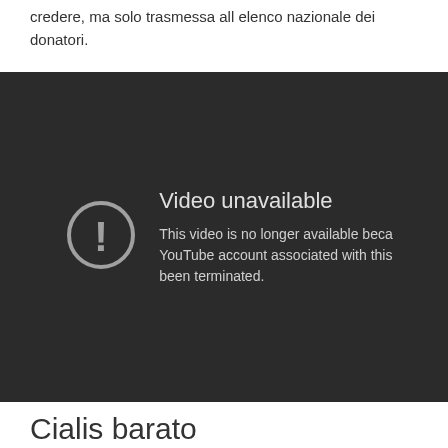credere, ma solo trasmessa all elenco nazionale dei donatori.
[Figure (screenshot): YouTube 'Video unavailable' error screen on dark background. Shows a circle with exclamation mark icon and text: 'Video unavailable. This video is no longer available because the YouTube account associated with this video has been terminated.']
Cialis barato